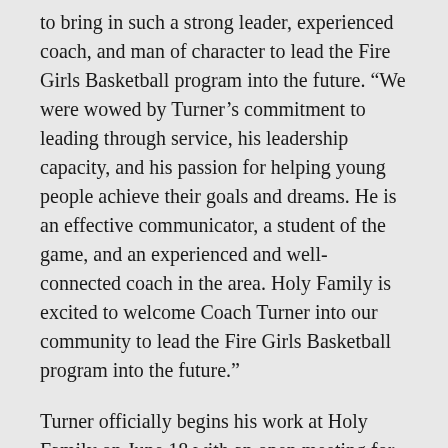to bring in such a strong leader, experienced coach, and man of character to lead the Fire Girls Basketball program into the future. “We were wowed by Turner’s commitment to leading through service, his leadership capacity, and his passion for helping young people achieve their goals and dreams. He is an effective communicator, a student of the game, and an experienced and well-connected coach in the area. Holy Family is excited to welcome Coach Turner into our community to lead the Fire Girls Basketball program into the future.”
Turner officially begins his work at Holy Family on June 18 with an open meeting for parents and players at 3pm in the Holy Family Performance Center, and with summer skills programs and Holy Family’s youth basketball camp starting on June 25th.